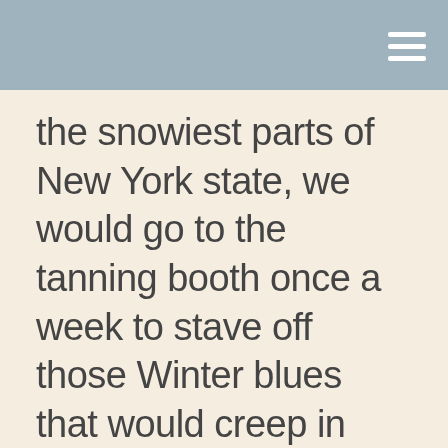the snowiest parts of New York state, we would go to the tanning booth once a week to stave off those Winter blues that would creep in because of all the grey and cold.